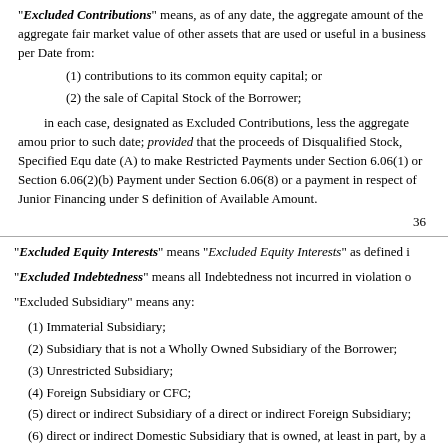"Excluded Contributions" means, as of any date, the aggregate amount of the aggregate fair market value of other assets that are used or useful in a business per... Date from:
(1) contributions to its common equity capital; or
(2) the sale of Capital Stock of the Borrower;
in each case, designated as Excluded Contributions, less the aggregate amount... prior to such date; provided that the proceeds of Disqualified Stock, Specified Equ... date (A) to make Restricted Payments under Section 6.06(1) or Section 6.06(2)(b)... Payment under Section 6.06(8) or a payment in respect of Junior Financing under S... definition of Available Amount.
36
"Excluded Equity Interests" means "Excluded Equity Interests" as defined i
"Excluded Indebtedness" means all Indebtedness not incurred in violation o
"Excluded Subsidiary" means any:
(1) Immaterial Subsidiary;
(2) Subsidiary that is not a Wholly Owned Subsidiary of the Borrower;
(3) Unrestricted Subsidiary;
(4) Foreign Subsidiary or CFC;
(5) direct or indirect Subsidiary of a direct or indirect Foreign Subsidiary;
(6) direct or indirect Domestic Subsidiary that is owned, at least in part, by a...